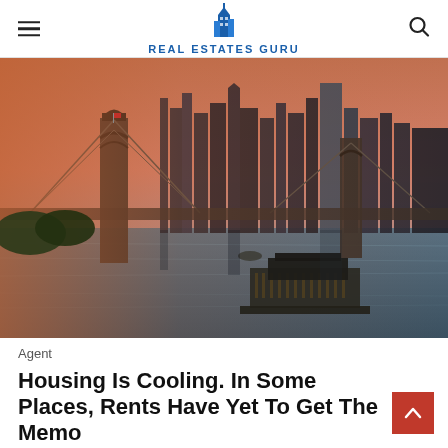REAL ESTATES GURU
[Figure (photo): Aerial/waterfront view of the Brooklyn Bridge and Manhattan skyline at sunset with warm orange tones reflecting on the East River, a pier and small vessel visible in foreground.]
Agent
Housing Is Cooling. In Some Places, Rents Have Yet To Get The Memo